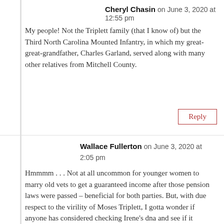Cheryl Chasin on June 3, 2020 at 12:55 pm
My people! Not the Triplett family (that I know of) but the Third North Carolina Mounted Infantry, in which my great-great-grandfather, Charles Garland, served along with many other relatives from Mitchell County.
Reply
Wallace Fullerton on June 3, 2020 at 2:05 pm
Hmmmm . . . Not at all uncommon for younger women to marry old vets to get a guaranteed income after those pension laws were passed – beneficial for both parties. But, with due respect to the virility of Moses Triplett, I gotta wonder if anyone has considered checking Irene’s dna and see if it matches that of other descendants or those